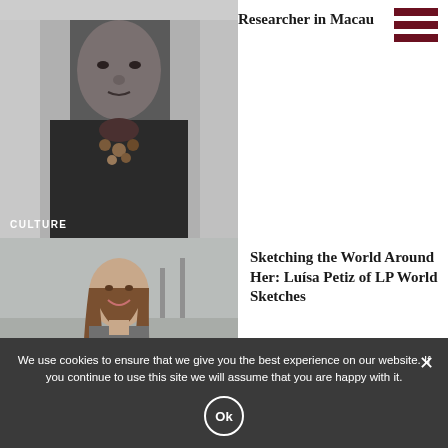[Figure (photo): Black and white photo of an elderly Asian man in formal attire with floral decoration, labeled CULTURE]
Researcher in Macau
[Figure (photo): Color photo of a young woman with long hair smiling outdoors near water, labeled PEOPLE]
Sketching the World Around Her: Luísa Petiz of LP World Sketches
[Figure (photo): Photo of Macau's Tap Seac Square showing buildings against a blue sky with clouds]
Macau's Tap Seac Square by Carlos Marreiros
We use cookies to ensure that we give you the best experience on our website. If you continue to use this site we will assume that you are happy with it.